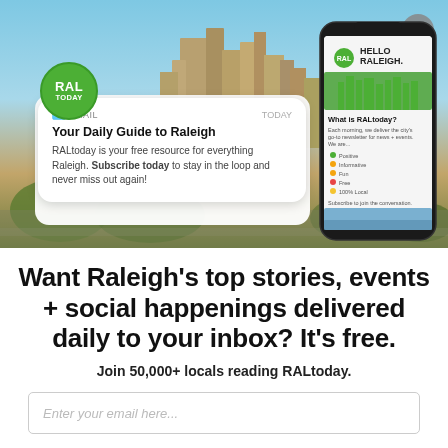[Figure (screenshot): RALtoday newsletter promotional banner showing a Raleigh city skyline background with a push notification card reading 'Your Daily Guide to Raleigh' and a smartphone mockup showing the RALtoday website. Includes RAL TODAY green badge logo and a close button.]
Want Raleigh's top stories, events + social happenings delivered daily to your inbox? It's free.
Join 50,000+ locals reading RALtoday.
Enter your email here...